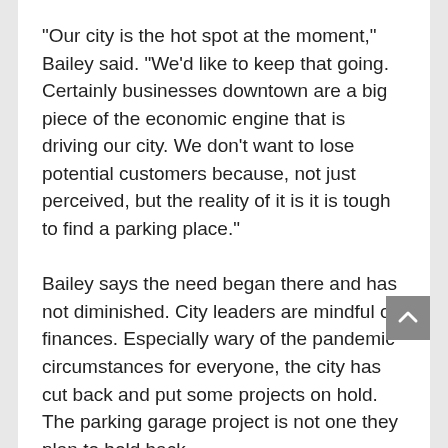“Our city is the hot spot at the moment,” Bailey said. “We’d like to keep that going. Certainly businesses downtown are a big piece of the economic engine that is driving our city. We don’t want to lose potential customers because, not just perceived, but the reality of it is it is tough to find a parking place.”
Bailey says the need began there and has not diminished. City leaders are mindful of finances. Especially wary of the pandemic circumstances for everyone, the city has cut back and put some projects on hold. The parking garage project is not one they plan to hold back.
“There’s a huge need for it and we’re moving